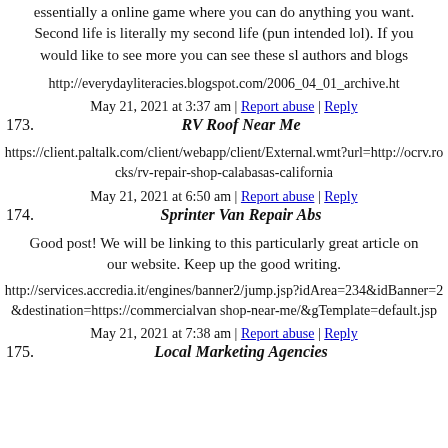essentially a online game where you can do anything you want. Second life is literally my second life (pun intended lol). If you would like to see more you can see these sl authors and blogs
http://everydayliteracies.blogspot.com/2006_04_01_archive.ht
May 21, 2021 at 3:37 am | Report abuse | Reply
173. RV Roof Near Me
https://client.paltalk.com/client/webapp/client/External.wmt?url=http://ocrv.rocks/rv-repair-shop-calabasas-california
May 21, 2021 at 6:50 am | Report abuse | Reply
174. Sprinter Van Repair Abs
Good post! We will be linking to this particularly great article on our website. Keep up the good writing.
http://services.accredia.it/engines/banner2/jump.jsp?idArea=234&idBanner=2&destination=https://commercialvan shop-near-me/&gTemplate=default.jsp
May 21, 2021 at 7:38 am | Report abuse | Reply
175. Local Marketing Agencies